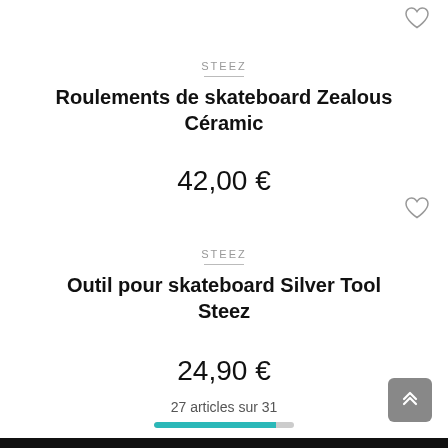STEEZ
Roulements de skateboard Zealous Céramic
42,00 €
STEEZ
Outil pour skateboard Silver Tool Steez
24,90 €
27 articles sur 31
[Figure (infographic): Progress bar showing 27 out of 31 articles loaded, approximately 87% filled in teal/cyan color]